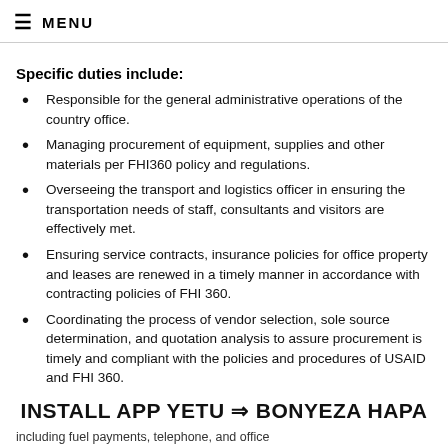≡ MENU
Specific duties include:
Responsible for the general administrative operations of the country office.
Managing procurement of equipment, supplies and other materials per FHI360 policy and regulations.
Overseeing the transport and logistics officer in ensuring the transportation needs of staff, consultants and visitors are effectively met.
Ensuring service contracts, insurance policies for office property and leases are renewed in a timely manner in accordance with contracting policies of FHI 360.
Coordinating the process of vendor selection, sole source determination, and quotation analysis to assure procurement is timely and compliant with the policies and procedures of USAID and FHI 360.
INSTALL APP YETU ⇒ BONYEZA HAPA
including fuel payments, telephone, and office